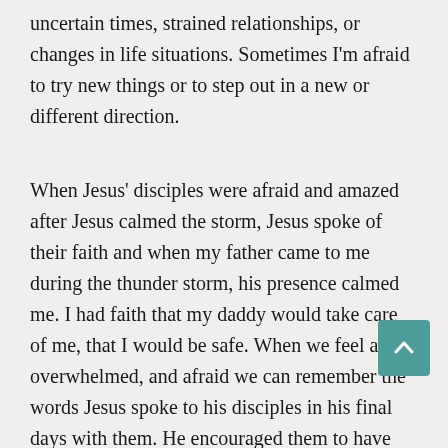uncertain times, strained relationships, or changes in life situations. Sometimes I'm afraid to try new things or to step out in a new or different direction.
When Jesus' disciples were afraid and amazed after Jesus calmed the storm, Jesus spoke of their faith and when my father came to me during the thunder storm, his presence calmed me. I had faith that my daddy would take care of me, that I would be safe. When we feel alone, overwhelmed, and afraid we can remember the words Jesus spoke to his disciples in his final days with them. He encouraged them to have faith and said that he would be sending the Holy Spirit to be with them forever: Peace I leave with you; my peace I give you. I do not give to you as the world gives. Do not let your hearts be